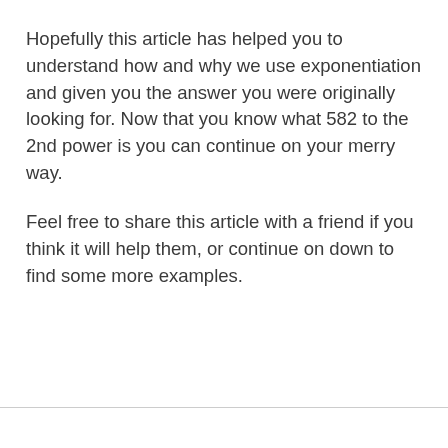Hopefully this article has helped you to understand how and why we use exponentiation and given you the answer you were originally looking for. Now that you know what 582 to the 2nd power is you can continue on your merry way.
Feel free to share this article with a friend if you think it will help them, or continue on down to find some more examples.